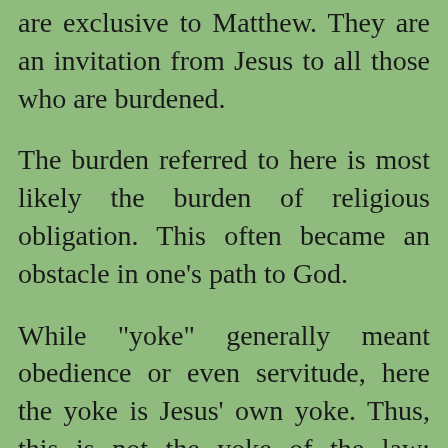are exclusive to Matthew. They are an invitation from Jesus to all those who are burdened.
The burden referred to here is most likely the burden of religious obligation. This often became an obstacle in one’s path to God.
While “yoke” generally meant obedience or even servitude, here the yoke is Jesus’ own yoke. Thus, this is not the yoke of the law; rather, it is the yoke that will deliver one from the artificial burdens of human religion. The yoke and life of...